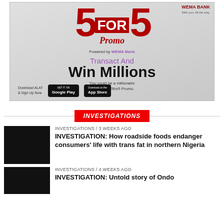[Figure (infographic): ALAT 5for5 Promo advertisement by Wema Bank. Features large red '5for5' text, 'Promo' script, 'Transact And Win Millions' text in purple and black, 'You could be a millionaire in the ALAT 5for5 Promo.' tagline, and Google Play / App Store download buttons.]
INVESTIGATIONS
INVESTIGATIONS / 3 weeks ago
INVESTIGATION: How roadside foods endanger consumers' life with trans fat in northern Nigeria
INVESTIGATIONS / 4 weeks ago
INVESTIGATION: Untold story of Ondo